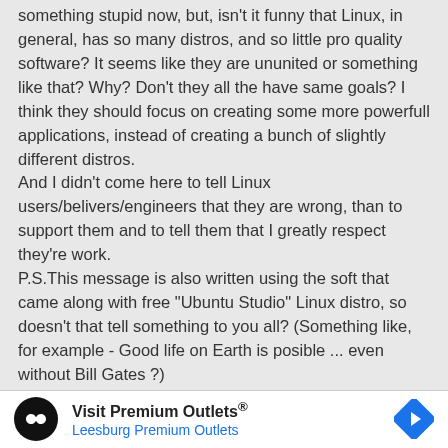something stupid now, but, isn't it funny that Linux, in general, has so many distros, and so little pro quality software? It seems like they are ununited or something like that? Why? Don't they all the have same goals? I think they should focus on creating some more powerfull applications, instead of creating a bunch of slightly different distros.
And I didn't come here to tell Linux users/belivers/engineers that they are wrong, than to support them and to tell them that I greatly respect they're work.
P.S.This message is also written using the soft that came along with free "Ubuntu Studio" Linux distro, so doesn't that tell something to you all? (Something like, for example - Good life on Earth is posible ... even without Bill Gates ?)
[Figure (other): Advertisement banner for Visit Premium Outlets - Leesburg Premium Outlets with logo and arrow icon]